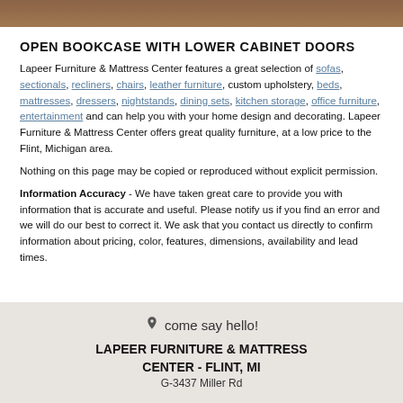[Figure (photo): Top portion of a furniture image, partially visible at the top of the page]
OPEN BOOKCASE WITH LOWER CABINET DOORS
Lapeer Furniture & Mattress Center features a great selection of sofas, sectionals, recliners, chairs, leather furniture, custom upholstery, beds, mattresses, dressers, nightstands, dining sets, kitchen storage, office furniture, entertainment and can help you with your home design and decorating. Lapeer Furniture & Mattress Center offers great quality furniture, at a low price to the Flint, Michigan area.
Nothing on this page may be copied or reproduced without explicit permission.
Information Accuracy - We have taken great care to provide you with information that is accurate and useful. Please notify us if you find an error and we will do our best to correct it. We ask that you contact us directly to confirm information about pricing, color, features, dimensions, availability and lead times.
come say hello!
LAPEER FURNITURE & MATTRESS CENTER - FLINT, MI
G-3437 Miller Rd